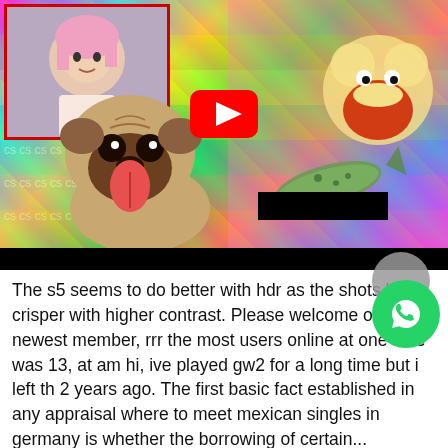[Figure (screenshot): YouTube video thumbnail showing a young woman with pink hair in an inset frame on the left, a pug dog in the foreground, a cartoon character and fish on the right, colorful chaotic background, large YouTube play button in the center, a black redacted bar in the lower right of the thumbnail area, and a black bar at the very bottom.]
The s5 seems to do better with hdr as the shots look crisper with higher contrast. Please welcome our newest member, rrr the most users online at one time was 13, at am hi, ive played gw2 for a long time but i left th 2 years ago. The first basic fact established in any appraisal where to meet mexican singles in germany is whether the borrowing of certain...